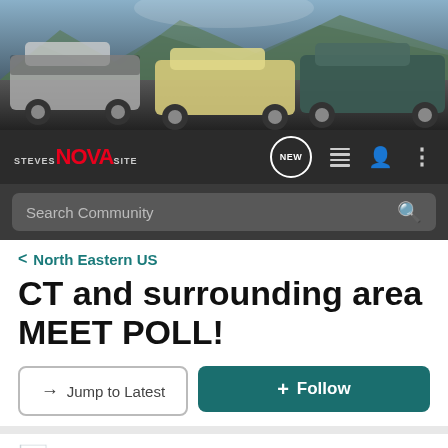[Figure (photo): Banner photo of classic muscle cars (Chevrolet Nova variants) parked outdoors with mountains in background]
[Figure (logo): Steves NOVA Site logo with red NOVA text on dark navigation bar, with NEW chat button, list icon, user icon, and menu icon]
Search Community
< North Eastern US
CT and surrounding area MEET POLL!
→ Jump to Latest
+ Follow
Where should we have the CT meet?